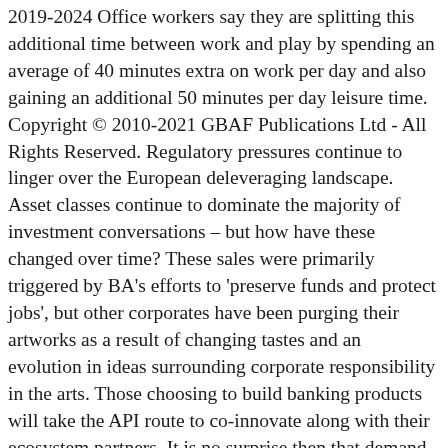2019-2024 Office workers say they are splitting this additional time between work and play by spending an average of 40 minutes extra on work per day and also gaining an additional 50 minutes per day leisure time. Copyright © 2010-2021 GBAF Publications Ltd - All Rights Reserved. Regulatory pressures continue to linger over the European deleveraging landscape. Asset classes continue to dominate the majority of investment conversations – but how have these changed over time? These sales were primarily triggered by BA's efforts to 'preserve funds and protect jobs', but other corporates have been purging their artworks as a result of changing tastes and an evolution in ideas surrounding corporate responsibility in the arts. Those choosing to build banking products will take the API route to co-innovate along with their ecosystem partners. It is no surprise then that demand for art rental businesses such as ARTIQ has remained strong during the pandemic. There is a whole new generation of artists in need of long-term support and mentoring that can only be achieved through the acquisition or renting of new artworks. This report takes the in America, Europe and Asia-Pacific to discuss the role of technology empowerment and James Buckley, VP and Europe